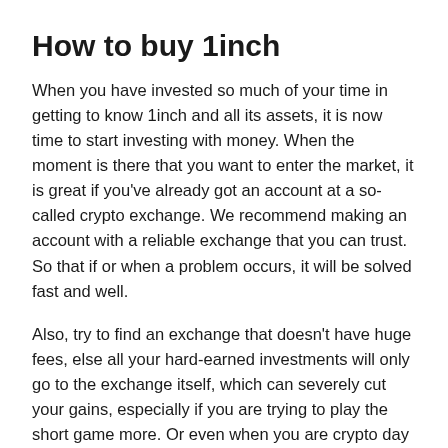How to buy 1inch
When you have invested so much of your time in getting to know 1inch and all its assets, it is now time to start investing with money. When the moment is there that you want to enter the market, it is great if you’ve already got an account at a so-called crypto exchange. We recommend making an account with a reliable exchange that you can trust. So that if or when a problem occurs, it will be solved fast and well.
Also, try to find an exchange that doesn’t have huge fees, else all your hard-earned investments will only go to the exchange itself, which can severely cut your gains, especially if you are trying to play the short game more. Or even when you are crypto day trading. In all these cases, you want a reliable and fast exchange with low fees.
Usually, it is also recommendable to go with a more